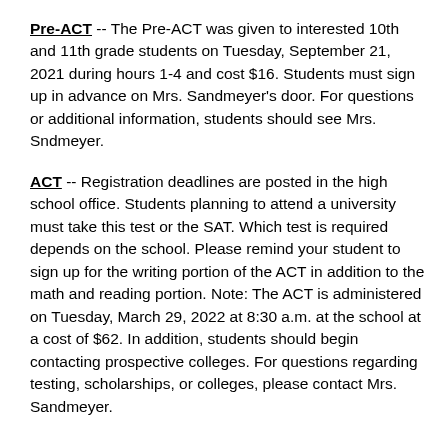Pre-ACT -- The Pre-ACT was given to interested 10th and 11th grade students on Tuesday, September 21, 2021 during hours 1-4 and cost $16. Students must sign up in advance on Mrs. Sandmeyer's door. For questions or additional information, students should see Mrs. Sndmeyer.
ACT -- Registration deadlines are posted in the high school office. Students planning to attend a university must take this test or the SAT. Which test is required depends on the school. Please remind your student to sign up for the writing portion of the ACT in addition to the math and reading portion. Note: The ACT is administered on Tuesday, March 29, 2022 at 8:30 a.m. at the school at a cost of $62. In addition, students should begin contacting prospective colleges. For questions regarding testing, scholarships, or colleges, please contact Mrs. Sandmeyer.